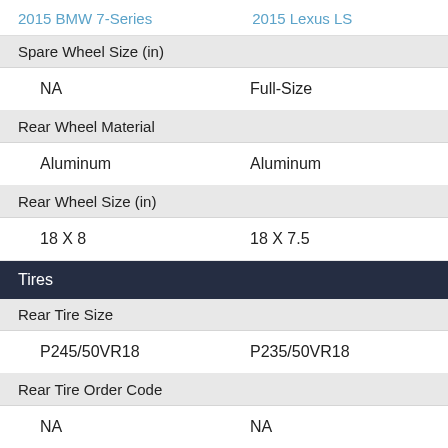2015 BMW 7-Series    2015 Lexus LS
Spare Wheel Size (in)
NA    Full-Size
Rear Wheel Material
Aluminum    Aluminum
Rear Wheel Size (in)
18 X 8    18 X 7.5
Tires
Rear Tire Size
P245/50VR18    P235/50VR18
Rear Tire Order Code
NA    NA
Front Tire Size